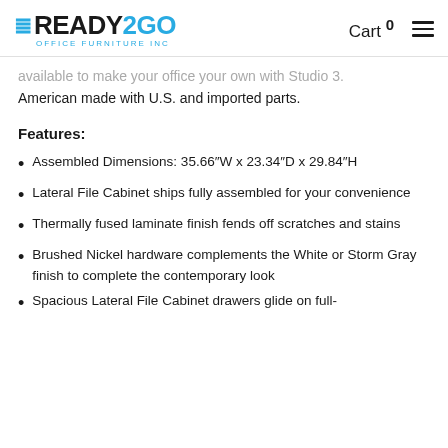READY2GO OFFICE FURNITURE INC — Cart 0
available to make your office your own with Studio 3. American made with U.S. and imported parts.
Features:
Assembled Dimensions: 35.66”W x 23.34”D x 29.84”H
Lateral File Cabinet ships fully assembled for your convenience
Thermally fused laminate finish fends off scratches and stains
Brushed Nickel hardware complements the White or Storm Gray finish to complete the contemporary look
Spacious Lateral File Cabinet drawers glide on full-